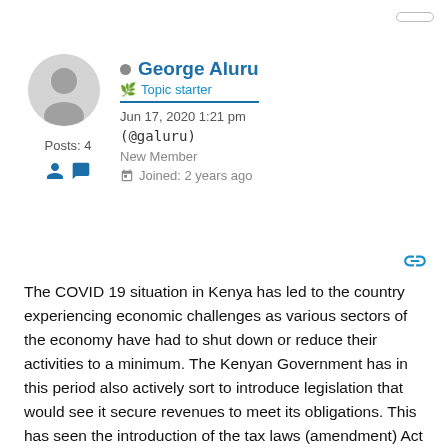[Figure (illustration): User avatar circle with silhouette icon]
George Aluru
Topic starter
Jun 17, 2020 1:21 pm
(@galuru)
New Member
Joined: 2 years ago
Posts: 4
The COVID 19 situation in Kenya has led to the country experiencing economic challenges as various sectors of the economy have had to shut down or reduce their activities to a minimum. The Kenyan Government has in this period also actively sort to introduce legislation that would see it secure revenues to meet its obligations. This has seen the introduction of the tax laws (amendment) Act and the Finance bill 2020. While there is a need to raise revenues, such need should not result in punitive measures for industry.
The electricity sector, of which Renewable Energy (RE)